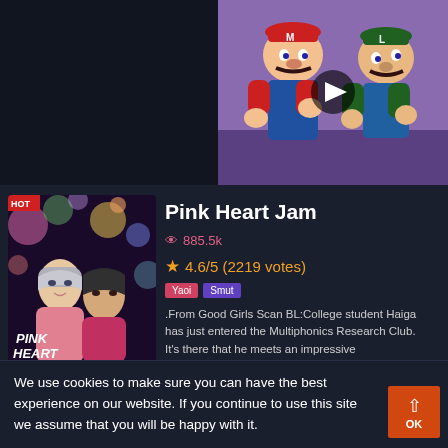[Figure (screenshot): Top area showing a dark background with a video thumbnail on the right side featuring cartoon characters resembling Mario and Luigi facing each other with a play button overlay]
[Figure (illustration): Manga cover for Pink Heart Jam showing two anime characters with bokeh background, tagged HOT, with Chapter 10 Final label at bottom]
Pink Heart Jam
885.5k
4.6/5 (2219 votes)
Yaoi Smut
.From Good Girls Scan BL:College student Haiga has just entered the Multiphonics Research Club. It's there that he meets an impressive upperclassman, Kanae. Fascinated by his stunning guitar performance, he thinks, "I want to try...
CHAPTER 10 : FINAL
We use cookies to make sure you can have the best experience on our website. If you continue to use this site we assume that you will be happy with it.